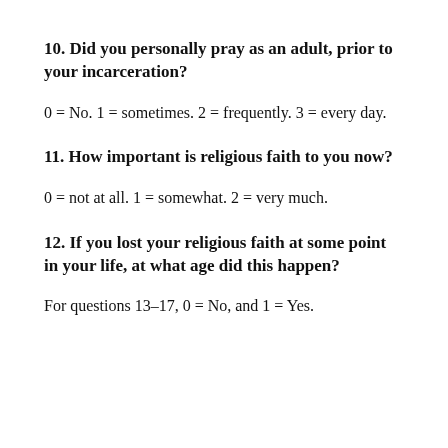10. Did you personally pray as an adult, prior to your incarceration?
0 = No. 1 = sometimes. 2 = frequently. 3 = every day.
11. How important is religious faith to you now?
0 = not at all. 1 = somewhat. 2 = very much.
12. If you lost your religious faith at some point in your life, at what age did this happen?
For questions 13–17, 0 = No, and 1 = Yes.